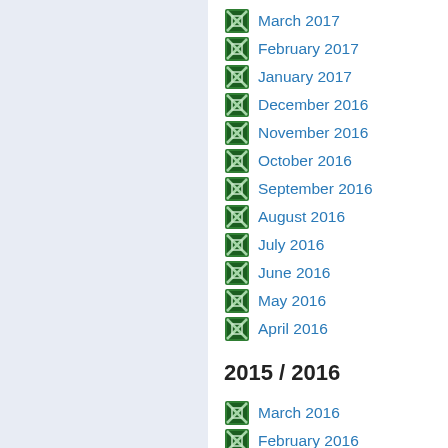March 2017
February 2017
January 2017
December 2016
November 2016
October 2016
September 2016
August 2016
July 2016
June 2016
May 2016
April 2016
2015 / 2016
March 2016
February 2016
January 2016